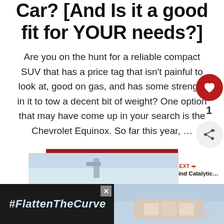Car? [And Is it a good fit for YOUR needs?]
Are you on the hunt for a reliable compact SUV that has a price tag that isn’t painful to look at, good on gas, and has some strength in it to tow a decent bit of weight? One option that may have come up in your search is the Chevrolet Equinox. So far this year, …
READ MORE
[Figure (other): Red heart icon floating button with like count of 1 and share icon button]
[Figure (other): What's Next panel with circular thumbnail image and text: How To Find Catalytic...]
[Figure (other): Image strip showing sky/water scene above ad banner]
[Figure (other): Ad banner: dark background with #FlattenTheCurve text and washing hands image, close button, and logo]